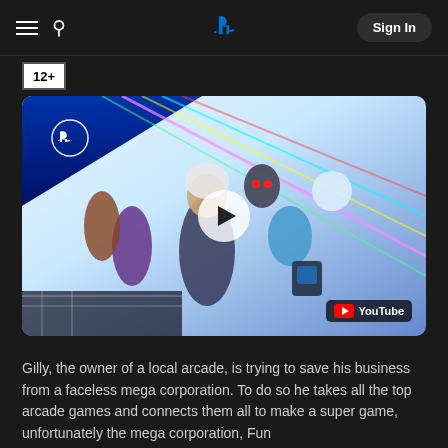PlayStation navigation header with hamburger menu, search icon, PlayStation logo, and Sign In button
12+
[Figure (screenshot): Video thumbnail for a PlayStation game featuring colorful animated characters including a woman with white hair, a robot-like character with glowing red eyes, a unicorn-like creature, and various other characters against a vibrant neon background. A play button is overlaid at center, and a YouTube badge is shown at bottom right.]
Gilly, the owner of a local arcade, is trying to save his business from a faceless mega corporation. To do so he takes all the top arcade games and connects them all to make a super game, unfortunately the mega corporation, Fun